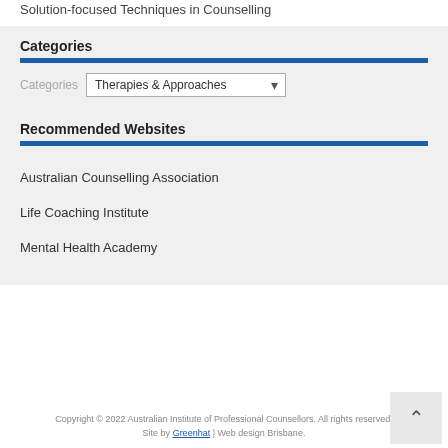Solution-focused Techniques in Counselling
Categories
Categories: Therapies & Approaches
Recommended Websites
Australian Counselling Association
Life Coaching Institute
Mental Health Academy
Copyright © 2022 Australian Institute of Professional Counsellors. All rights reserved. Site by Greenhat | Web design Brisbane.